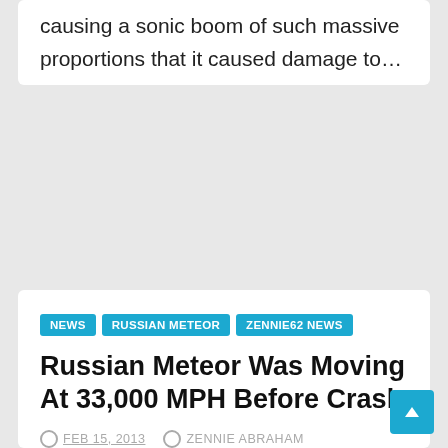causing a sonic boom of such massive proportions that it caused damage to…
NEWS   RUSSIAN METEOR   ZENNIE62 NEWS
Russian Meteor Was Moving At 33,000 MPH Before Crash
FEB 15, 2013   ZENNIE ABRAHAM
The newest report is that the “Russian Meteor” that hit Central Russia, and has become the largest impact episode of its kind since 1908, was moving at 33,000 MPH and…